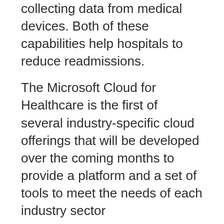collecting data from medical devices. Both of these capabilities help hospitals to reduce readmissions.
The Microsoft Cloud for Healthcare is the first of several industry-specific cloud offerings that will be developed over the coming months to provide a platform and a set of tools to meet the needs of each industry sector
Author: Steve Alder is the editor-in-chief of HIPAA Journal. Steve is responsible for editorial policy regarding the topics covered on HIPAA Journal. He is a specialist on healthcare industry legal and regulatory affairs, and has several years of experience writing about HIPAA and other related legal topics. Steve has developed a deep